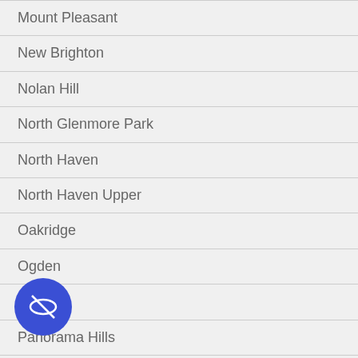Mount Pleasant
New Brighton
Nolan Hill
North Glenmore Park
North Haven
North Haven Upper
Oakridge
Ogden
Palliser
Panorama Hills
Parkdale